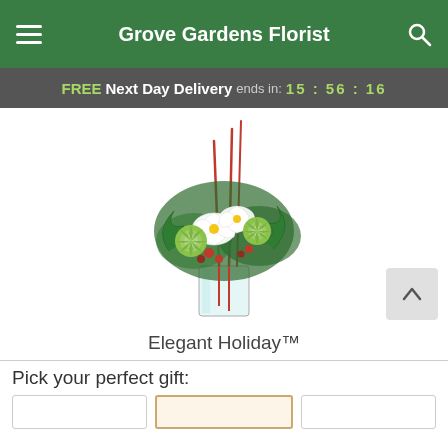Grove Gardens Florist
FREE Next Day Delivery ends in: 15 : 56 : 16
[Figure (photo): Flower arrangement: Elegant Holiday bouquet with white lilies, green chrysanthemums, red berries, tall red stems, and lush green foliage in a clear glass vase]
Elegant Holiday™
Pick your perfect gift: